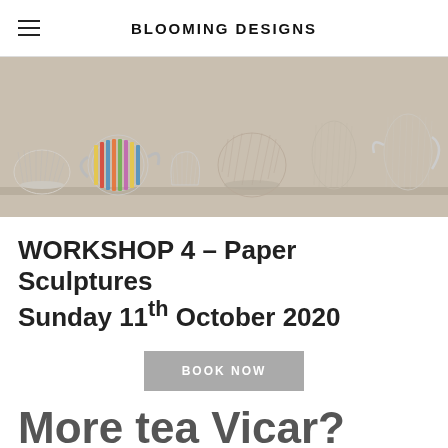BLOOMING DESIGNS
[Figure (photo): Shelf of paper sculpture teapots and vessels made from folded book pages, arranged in a row against a beige background.]
WORKSHOP 4 – Paper Sculptures Sunday 11th October 2020
BOOK NOW
More tea Vicar? Create beautiful paper sculpture